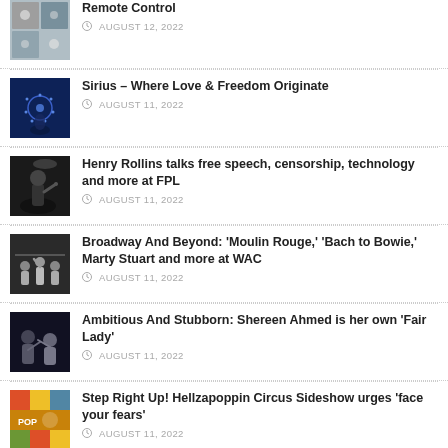Remote Control
Sirius – Where Love & Freedom Originate
Henry Rollins talks free speech, censorship, technology and more at FPL
Broadway And Beyond: 'Moulin Rouge,' 'Bach to Bowie,' Marty Stuart and more at WAC
Ambitious And Stubborn: Shereen Ahmed is her own 'Fair Lady'
Step Right Up! Hellzapoppin Circus Sideshow urges 'face your fears'